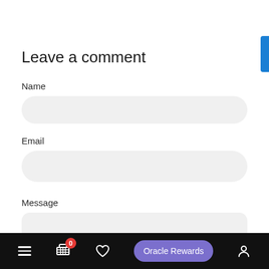Leave a comment
Name
Email
Message
[Figure (screenshot): Bottom navigation bar with hamburger menu, shopping cart with badge showing 0, heart/wishlist icon, Oracle Rewards purple button, and account icon on black background]
[Figure (other): Blue vertical tab/button on far right edge of screen]